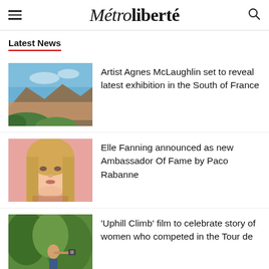Métro liberté
Latest News
Artist Agnes McLaughlin set to reveal latest exhibition in the South of France
Elle Fanning announced as new Ambassador Of Fame by Paco Rabanne
'Uphill Climb' film to celebrate story of women who competed in the Tour de